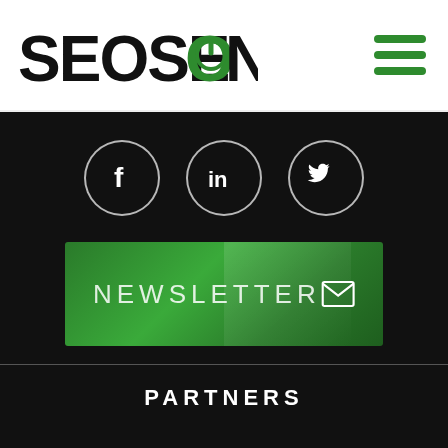[Figure (logo): SEOSEON logo with green N and power button symbol]
[Figure (infographic): Social media icons: Facebook, LinkedIn, Twitter in circular borders on black background]
[Figure (infographic): Green NEWSLETTER button with envelope icon]
PARTNERS